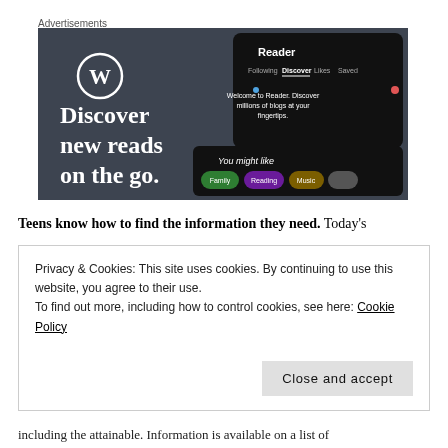Advertisements
[Figure (screenshot): WordPress app advertisement showing 'Discover new reads on the go.' with a Reader interface screenshot on a dark background]
Teens know how to find the information they need. Today's
Privacy & Cookies: This site uses cookies. By continuing to use this website, you agree to their use.
To find out more, including how to control cookies, see here: Cookie Policy
Close and accept
including the attainable. Information is available on a list of